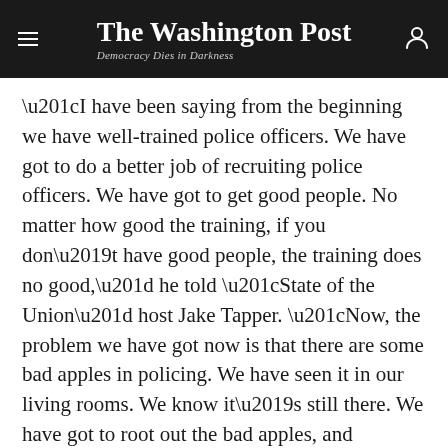The Washington Post — Democracy Dies in Darkness
“I have been saying from the beginning we have well-trained police officers. We have got to do a better job of recruiting police officers. We have got to get good people. No matter how good the training, if you don’t have good people, the training does no good,” he told “State of the Union” host Jake Tapper. “Now, the problem we have got now is that there are some bad apples in policing. We have seen it in our living rooms. We know it’s still there. We have got to root out the bad apples, and let’s go forward with a good, solid program.”